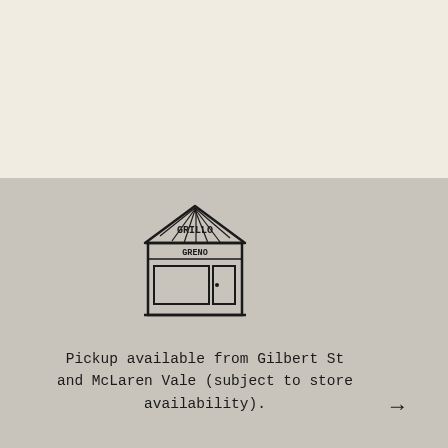[Figure (illustration): Hand-drawn illustration of a small retail store/shop front with a triangular roof, a sign reading 'GRILLO' at the top, a sign reading 'GRENO' below, a display window, and a door.]
Pickup available from Gilbert St and McLaren Vale (subject to store availability).
Experts in us a call you
→